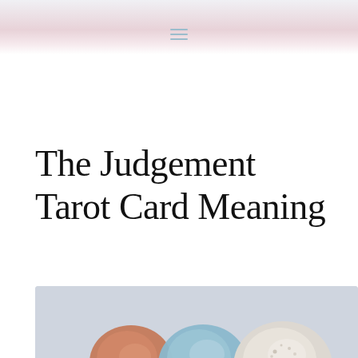The Judgement Tarot Card Meaning
[Figure (photo): Photograph of tumbled crystals and stones including a blue stone, a white speckled stone, and a reddish-brown stone, arranged on a light grey background]